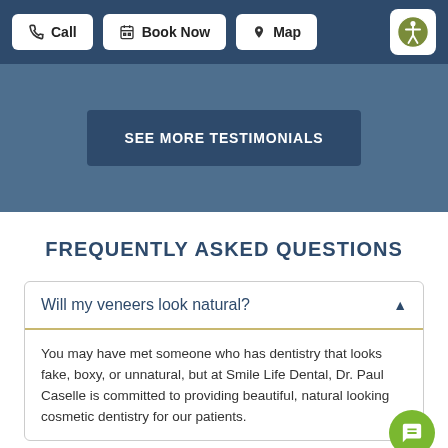[Figure (screenshot): Navigation bar with Call, Book Now, and Map buttons on dark blue background, plus accessibility icon on right]
[Figure (screenshot): Blue section with 'SEE MORE TESTIMONIALS' dark blue button]
FREQUENTLY ASKED QUESTIONS
Will my veneers look natural?
You may have met someone who has dentistry that looks fake, boxy, or unnatural, but at Smile Life Dental, Dr. Paul Caselle is committed to providing beautiful, natural looking cosmetic dentistry for our patients.